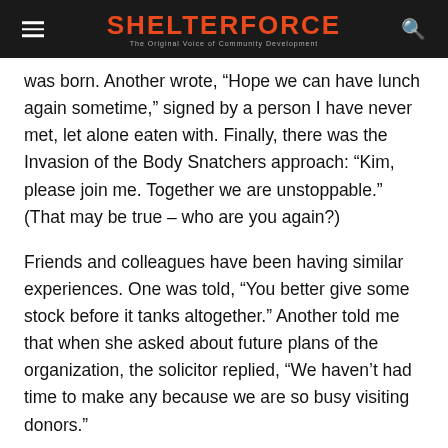SHELTERFORCE — The Original Voice of Community Development
was born. Another wrote, “Hope we can have lunch again sometime,” signed by a person I have never met, let alone eaten with. Finally, there was the Invasion of the Body Snatchers approach: “Kim, please join me. Together we are unstoppable.” (That may be true – who are you again?)
Friends and colleagues have been having similar experiences. One was told, “You better give some stock before it tanks altogether.” Another told me that when she asked about future plans of the organization, the solicitor replied, “We haven’t had time to make any because we are so busy visiting donors.”
Even sensible people lose their balance when it comes to asking for money, but these approaches define a new low in